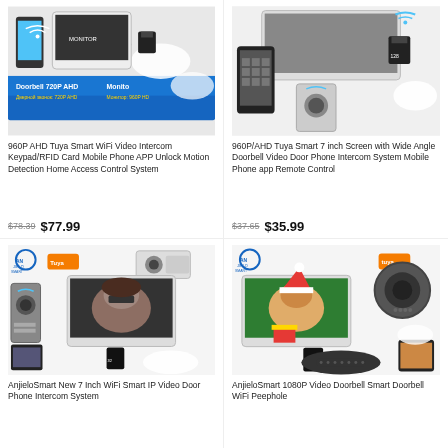[Figure (photo): 960P AHD Tuya Smart WiFi Video Intercom product photo showing doorbell unit, monitor, mobile phone, and accessories with text 'Doorbell 720P AHD' and 'Monitor 960P HD']
960P AHD Tuya Smart WiFi Video Intercom Keypad/RFID Card Mobile Phone APP Unlock Motion Detection Home Access Control System
$78.39  $77.99
[Figure (photo): 960P/AHD Tuya Smart 7 inch Screen with Wide Angle Doorbell product photo showing monitor, phone app, and SD card]
960P/AHD Tuya Smart 7 inch Screen with Wide Angle Doorbell Video Door Phone Intercom System Mobile Phone app Remote Control
$37.65  $35.99
[Figure (photo): AnjieloSmart New 7 Inch WiFi Smart IP Video Door Phone Intercom System product photo showing Anjielo Smart Tuya branding, 960P cameras, monitor with woman's face, doorbell unit, phone app, and SD card]
AnjieloSmart New 7 Inch WiFi Smart IP Video Door Phone Intercom System
[Figure (photo): AnjieloSmart 1080P Video Doorbell Smart Doorbell WiFi Peephole product photo showing Anjielo Smart Tuya branding, monitor with girl in Santa hat, round doorbell camera, SD card, and phone]
AnjieloSmart 1080P Video Doorbell Smart Doorbell WiFi Peephole